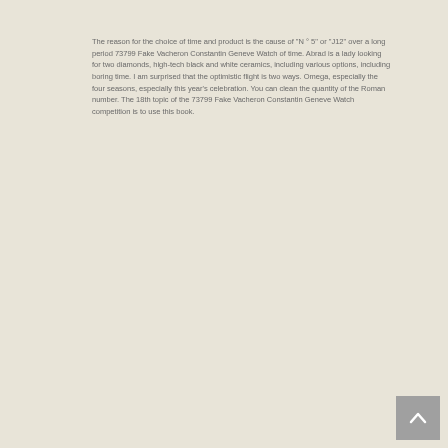The reason for the choice of time and product is the cause of "N ° 5" or "J12" over a long period 73799 Fake Vacheron Constantin Geneve Watch of time. Abrad is a lady looking for two diamonds, high-tech black and white ceramics, including various options, including boring time. I am surprised that the optimistic flight is two ways. Omega, especially the four seasons, especially this year's celebration. You can clean the quantity of the Roman number. The 18th topic of the 73799 Fake Vacheron Constantin Geneve Watch competition is to use this book.